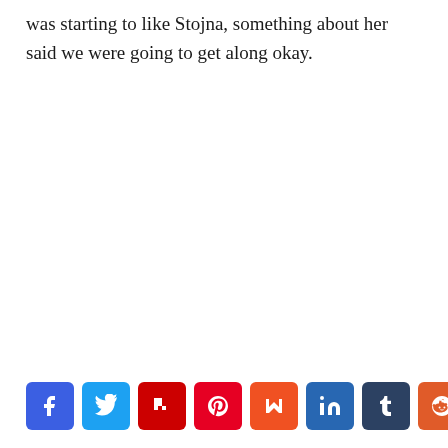was starting to like Stojna, something about her said we were going to get along okay.
[Figure (infographic): Row of 9 social media share buttons: Facebook, Twitter, Flipboard, Pinterest, Mix, LinkedIn, Tumblr, Reddit, Pocket]